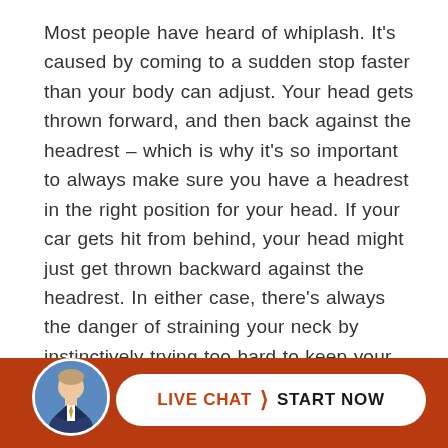Most people have heard of whiplash. It's caused by coming to a sudden stop faster than your body can adjust. Your head gets thrown forward, and then back against the headrest – which is why it's so important to always make sure you have a headrest in the right position for your head. If your car gets hit from behind, your head might just get thrown backward against the headrest. In either case, there's always the danger of straining your neck by instinctively trying too hard to keep your head upright, despite the sudden forward and/or backward motion.
In ca
[Figure (photo): Circular avatar photo of a man in a suit with a blue background, used as a chat agent profile picture in a live chat widget]
LIVE CHAT › START NOW